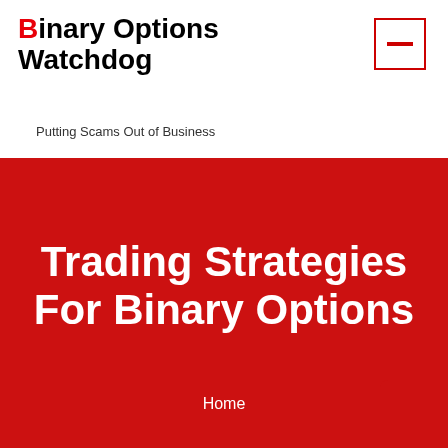Binary Options Watchdog — Putting Scams Out of Business
Trading Strategies For Binary Options
Home